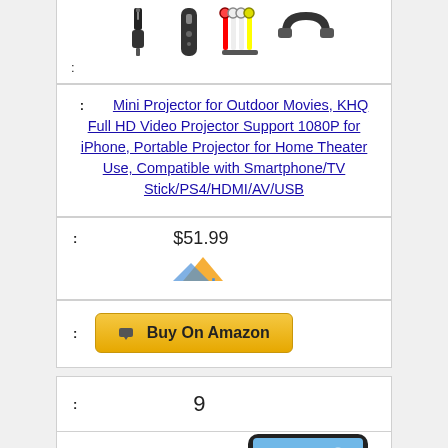[Figure (photo): Accessories icons: power adapter, remote, AV cables, HDMI cable]
:
: Mini Projector for Outdoor Movies, KHQ Full HD Video Projector Support 1080P for iPhone, Portable Projector for Home Theater Use, Compatible with Smartphone/TV Stick/PS4/HDMI/AV/USB
: $51.99
[Figure (logo): Brand logo (orange/blue)]
: Buy On Amazon
: 9
[Figure (photo): Phone screen displaying a colorful outdoor scene with a woman]